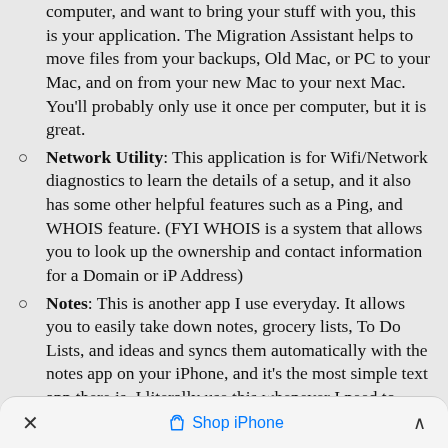computer, and want to bring your stuff with you, this is your application. The Migration Assistant helps to move files from your backups, Old Mac, or PC to your Mac, and on from your new Mac to your next Mac. You'll probably only use it once per computer, but it is great.
Network Utility: This application is for Wifi/Network diagnostics to learn the details of a setup, and it also has some other helpful features such as a Ping, and WHOIS feature. (FYI WHOIS is a system that allows you to look up the ownership and contact information for a Domain or iP Address)
Notes: This is another app I use everyday. It allows you to easily take down notes, grocery lists, To Do Lists, and ideas and syncs them automatically with the notes app on your iPhone, and it's the most simple text app there is. I literally use this whenever I need to write stuff down. Apple has a dedicated sticky note app (see "Stickies" below),
× Shop iPhone ^